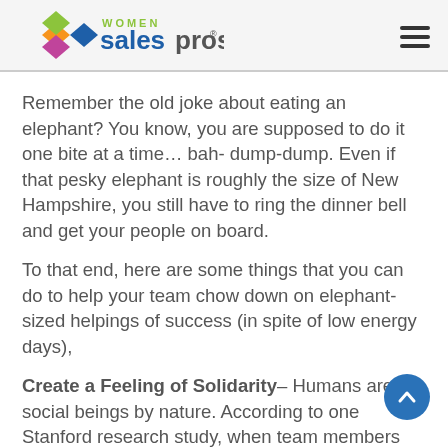Women Sales Pros (logo) | hamburger menu
Remember the old joke about eating an elephant? You know, you are supposed to do it one bite at a time… bah- dump-dump. Even if that pesky elephant is roughly the size of New Hampshire, you still have to ring the dinner bell and get your people on board.
To that end, here are some things that you can do to help your team chow down on elephant-sized helpings of success (in spite of low energy days),
Create a Feeling of Solidarity– Humans are social beings by nature. According to one Stanford research study, when team members felt that they were bonded and engaged in a common